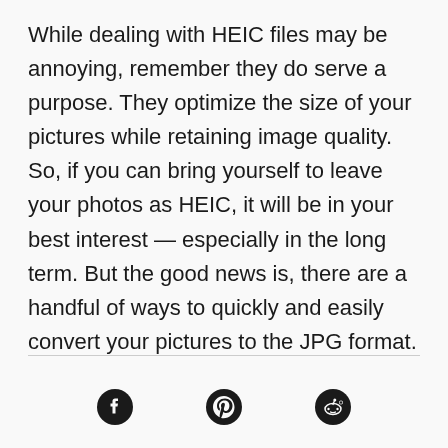While dealing with HEIC files may be annoying, remember they do serve a purpose. They optimize the size of your pictures while retaining image quality. So, if you can bring yourself to leave your photos as HEIC, it will be in your best interest — especially in the long term. But the good news is, there are a handful of ways to quickly and easily convert your pictures to the JPG format.
[Figure (other): Social sharing icons: Facebook, Pinterest, and Reddit]